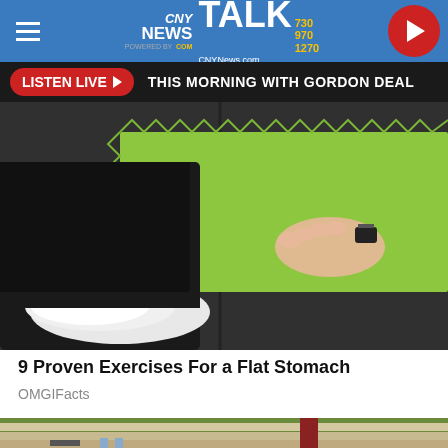[Figure (screenshot): CNY News Talk 730 970 1270 website header with hamburger menu, logo, and red play button]
[Figure (screenshot): Listen Live button and 'This Morning with Gordon Deal' text bar]
[Figure (photo): Person placing green foam puzzle mat on dark rubber gym floor, wearing white sneakers]
9 Proven Exercises For a Flat Stomach
OMGIFacts
[Figure (photo): Construction/renovation scene showing wood siding on a house with tools and materials underneath]